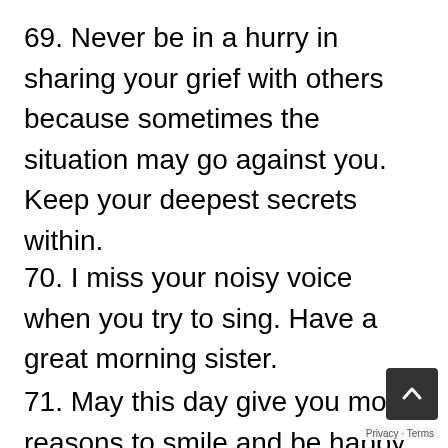69. Never be in a hurry in sharing your grief with others because sometimes the situation may go against you. Keep your deepest secrets within.
70. I miss your noisy voice when you try to sing. Have a great morning sister.
71. May this day give you more reasons to smile and be happy. You are cute, never forget t